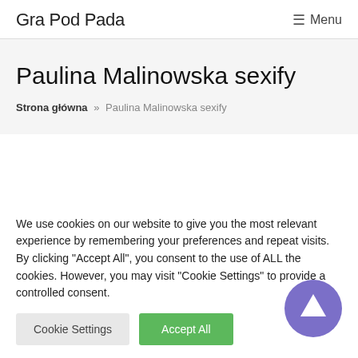Gra Pod Pada  ☰ Menu
Paulina Malinowska sexify
Strona główna » Paulina Malinowska sexify
We use cookies on our website to give you the most relevant experience by remembering your preferences and repeat visits. By clicking "Accept All", you consent to the use of ALL the cookies. However, you may visit "Cookie Settings" to provide a controlled consent.
Cookie Settings  Accept All